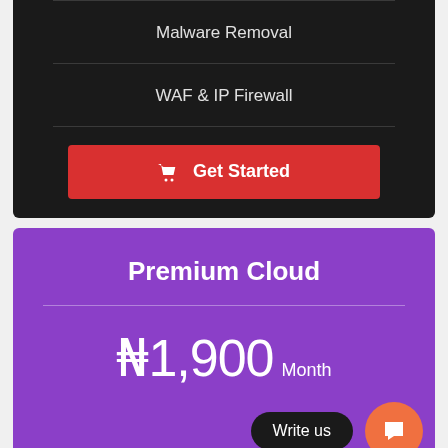Malware Removal
WAF & IP Firewall
Get Started
Premium Cloud
₦1,900 Month
Write us
₦68,400 Triennially